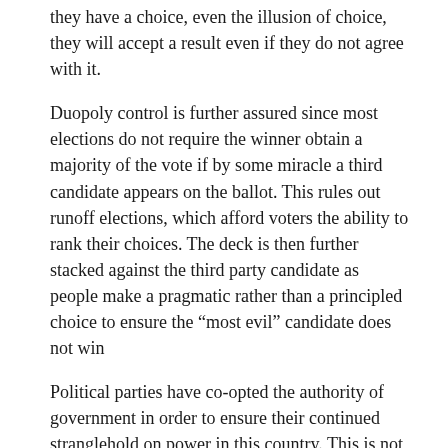they have a choice, even the illusion of choice, they will accept a result even if they do not agree with it.
Duopoly control is further assured since most elections do not require the winner obtain a majority of the vote if by some miracle a third candidate appears on the ballot. This rules out runoff elections, which afford voters the ability to rank their choices. The deck is then further stacked against the third party candidate as people make a pragmatic rather than a principled choice to ensure the “most evil” candidate does not win
Political parties have co-opted the authority of government in order to ensure their continued stranglehold on power in this country. This is not democracy. This is not freedom. False choice is not real choice. We laugh at countries with only one name on the ballot and yet somehow only two names on the ballot seems perfectly reasonable. If you truly believe in democracy then you must demand the people be free to